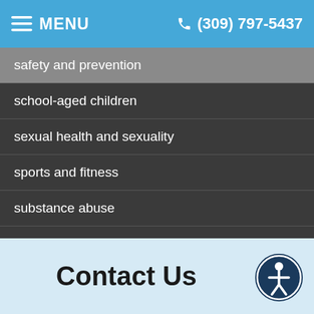MENU | (309) 797-5437
safety and prevention
school-aged children
sexual health and sexuality
sports and fitness
substance abuse
well-child visits
Schmitt Pediatric Care Advice
COVID-19
Contact Us